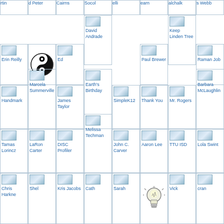[Figure (screenshot): Grid of profile/icon thumbnails with labels including names and page titles like rtin, d Peter, Cairns, Socol, elli, earn, alchalk, s Webb, Erin Reilly, yin-yang symbol, Ed, David Andrade, Paul Brewer, Keep Linden Tree, Raman Job, Kyle Webb, Handmark, Marcela Summerville, James Taylor, Earth's Birthday, SimpleK12, Thank You, Mr. Rogers, Barbara McLaughlin, Tamas Lorincz, LaRon Carter, DISC Profiler, Melissa Techman, John C. Carver, Aaron Lee, TTU ISD, Lola Swint, Chris Harkne, Shel, Kris Jacobs, Cath, Sarah, light-bulb icon, Vick, cran]